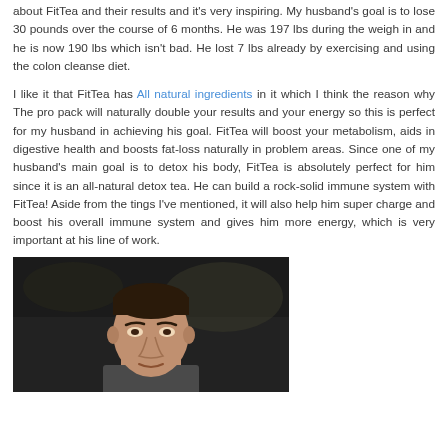about FitTea and their results and it's very inspiring. My husband's goal is to lose 30 pounds over the course of 6 months. He was 197 lbs during the weigh in and he is now 190 lbs which isn't bad. He lost 7 lbs already by exercising and using the colon cleanse diet.
I like it that FitTea has All natural ingredients in it which I think the reason why The pro pack will naturally double your results and your energy so this is perfect for my husband in achieving his goal. FitTea will boost your metabolism, aids in digestive health and boosts fat-loss naturally in problem areas. Since one of my husband's main goal is to detox his body, FitTea is absolutely perfect for him since it is an all-natural detox tea. He can build a rock-solid immune system with FitTea! Aside from the tings I've mentioned, it will also help him super charge and boost his overall immune system and gives him more energy, which is very important at his line of work.
[Figure (photo): Photo of a man's face and upper body, dark background, appears to be a video screenshot]